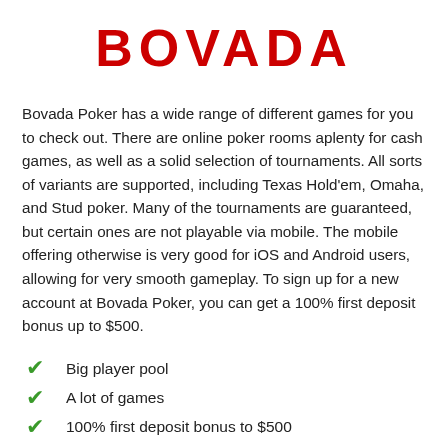BOVADA
Bovada Poker has a wide range of different games for you to check out. There are online poker rooms aplenty for cash games, as well as a solid selection of tournaments. All sorts of variants are supported, including Texas Hold'em, Omaha, and Stud poker. Many of the tournaments are guaranteed, but certain ones are not playable via mobile. The mobile offering otherwise is very good for iOS and Android users, allowing for very smooth gameplay. To sign up for a new account at Bovada Poker, you can get a 100% first deposit bonus up to $500.
Big player pool
A lot of games
100% first deposit bonus to $500
Good mobile offering